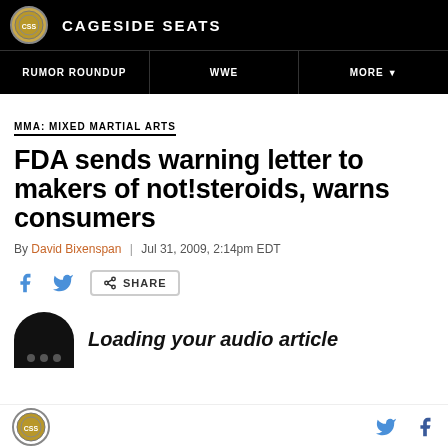CAGESIDE SEATS
RUMOR ROUNDUP | WWE | MORE
MMA: MIXED MARTIAL ARTS
FDA sends warning letter to makers of not!steroids, warns consumers
By David Bixenspan | Jul 31, 2009, 2:14pm EDT
SHARE
Loading your audio article